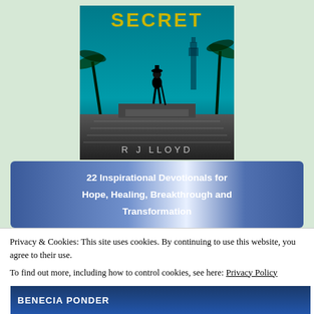[Figure (illustration): Book cover of a mystery/thriller novel featuring a silhouette of a man with a cane standing at the top of stairs, with a teal/turquoise sky, palm trees, and London's Big Ben in the background. The word 'SECRET' appears at the top in gold/yellow letters, and 'R J LLOYD' is written at the bottom in silver letters.]
[Figure (illustration): Promotional banner with blue gradient background and white text reading '22 Inspirational Devotionals for Hope, Healing, Breakthrough and Transformation']
Privacy & Cookies: This site uses cookies. By continuing to use this website, you agree to their use.
To find out more, including how to control cookies, see here: Privacy Policy
Close and accept
[Figure (illustration): Bottom portion of a book cover showing 'BENECIA PONDER' in bold white letters on a dark blue background]